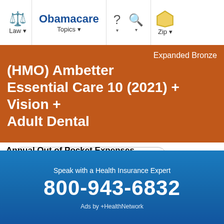Law | Obamacare Topics | ? | Search | Zip
(HMO) Ambetter Essential Care 10 (2021) + Vision + Adult Dental
Expanded Bronze
Summary of Benefits and Coverage
Plan Brochure
Provider Directory
Customer Service Phone: 1-833-270-5443
Annual Out of Pocket Expenses
Speak with a Health Insurance Expert
800-943-6832
Ads by +HealthNetwork